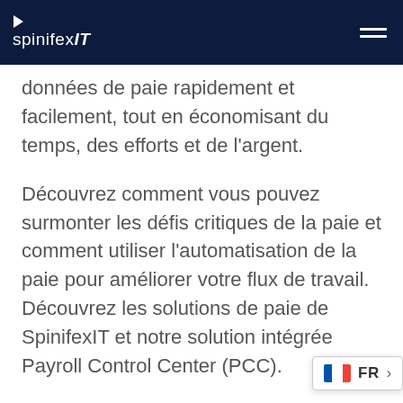spinifexIT
données de paie rapidement et facilement, tout en économisant du temps, des efforts et de l'argent.
Découvrez comment vous pouvez surmonter les défis critiques de la paie et comment utiliser l'automatisation de la paie pour améliorer votre flux de travail. Découvrez les solutions de paie de SpinifexIT et notre solution intégrée Payroll Control Center (PCC).
La solution intégrée PCC de SpinifexIT vous permet de vous assurer que v... de